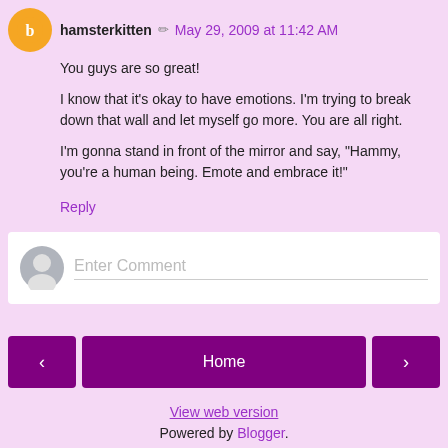hamsterkitten  May 29, 2009 at 11:42 AM
You guys are so great!

I know that it's okay to have emotions. I'm trying to break down that wall and let myself go more. You are all right.

I'm gonna stand in front of the mirror and say, "Hammy, you're a human being. Emote and embrace it!"
Reply
Enter Comment
Home
View web version
Powered by Blogger.